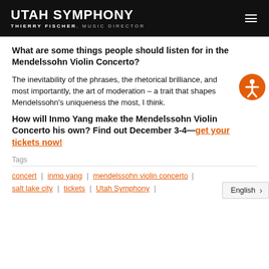UTAH SYMPHONY | THIERRY FISCHER, MUSIC DIRECTOR
What are some things people should listen for in the Mendelssohn Violin Concerto?
The inevitability of the phrases, the rhetorical brilliance, and most importantly, the art of moderation – a trait that shapes Mendelssohn's uniqueness the most, I think.
How will Inmo Yang make the Mendelssohn Violin Concerto his own? Find out December 3-4—get your tickets now!
Tags
concert | inmo yang | mendelssohn violin concerto | salt lake city | tickets | Utah Symphony |